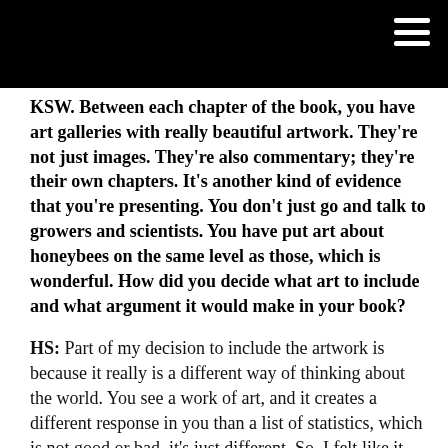KSW. Between each chapter of the book, you have art galleries with really beautiful artwork. They’re not just images. They’re also commentary; they’re their own chapters. It’s another kind of evidence that you’re presenting. You don’t just go and talk to growers and scientists. You have put art about honeybees on the same level as those, which is wonderful. How did you decide what art to include and what argument it would make in your book?
HS: Part of my decision to include the artwork is because it really is a different way of thinking about the world. You see a work of art, and it creates a different response in you than a list of statistics, which is not good or bad, it’s just different. So, I felt like it was really great to be able to include both. To say, here are some ways we can think about these things visually. I offer